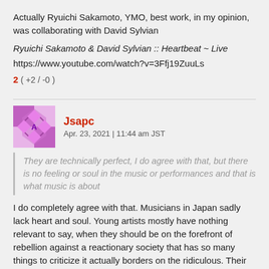Actually Ryuichi Sakamoto, YMO, best work, in my opinion, was collaborating with David Sylvian
Ryuichi Sakamoto & David Sylvian :: Heartbeat ~ Live
https://www.youtube.com/watch?v=3Ffj19ZuuLs
2  ( +2 / -0 )
Jsapc
Apr. 23, 2021 | 11:44 am JST
They are technically perfect, I do agree with that, but there is no feeling or soul in the music or performances and that is what music is about
I do completely agree with that. Musicians in Japan sadly lack heart and soul. Young artists mostly have nothing relevant to say, when they should be on the forefront of rebellion against a reactionary society that has so many things to criticize it actually borders on the ridiculous. Their lives are too comfortable and their opinions too meek. This is especially true in japanese hip-hop, which is often simply derivative and copies the mannerism of its american counterpart, at the expense of the depth. But the most...